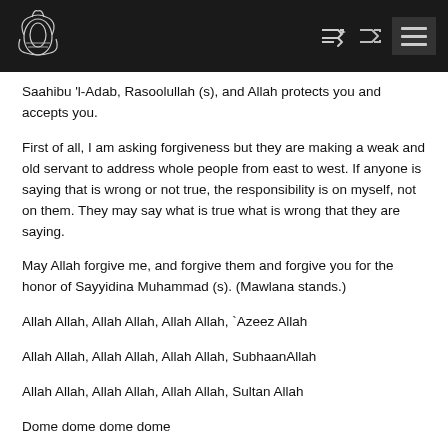[Logo] [Shuffle icon] [Menu button]
Saahibu 'l-Adab, Rasoolullah (s), and Allah protects you and accepts you.
First of all, I am asking forgiveness but they are making a weak and old servant to address whole people from east to west. If anyone is saying that is wrong or not true, the responsibility is on myself, not on them. They may say what is true what is wrong that they are saying.
May Allah forgive me, and forgive them and forgive you for the honor of Sayyidina Muhammad (s). (Mawlana stands.)
Allah Allah, Allah Allah, Allah Allah, `Azeez Allah
Allah Allah, Allah Allah, Allah Allah, SubhaanAllah
Allah Allah, Allah Allah, Allah Allah, Sultan Allah
Dome dome dome dome
Dome dome dome dome
Dome dome dome dome
Dome dome dome dome